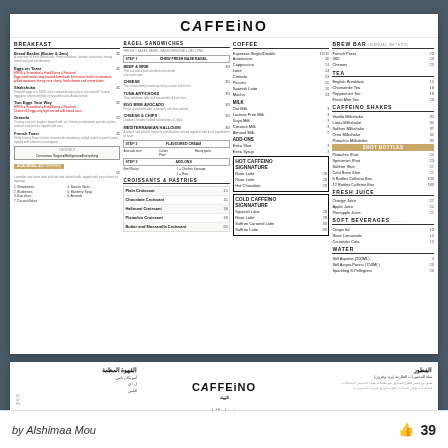CAFFEINO
BREAKFAST
BAGEL SANDWICHES
COFFEE
BREW BAR
TEA
CAFFEINO SHAKES
SHOT BOTTLES
FRESH JUICE
SOFT BEVERAGES
WATER
MILK
ADD-ONS
HOT CAFFEINO SIGNNATURE
COLD CAFFEINO SIGNNATURE
CROISSANTS & PASTRIES
by Alshimaa Mou
39